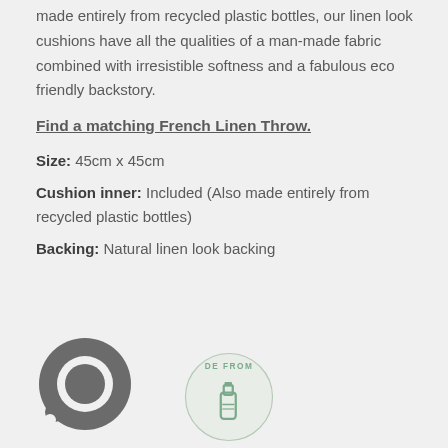made entirely from recycled plastic bottles, our linen look cushions have all the qualities of a man-made fabric combined with irresistible softness and a fabulous eco friendly backstory.
Find a matching French Linen Throw.
Size: 45cm x 45cm
Cushion inner: Included (Also made entirely from recycled plastic bottles)
Backing: Natural linen look backing
[Figure (illustration): Dark grey circular chat/speech bubble icon on the left, and a partial circular badge with teal green bottle recycling illustration and text 'DE FROM' on the right, at the bottom of the page]